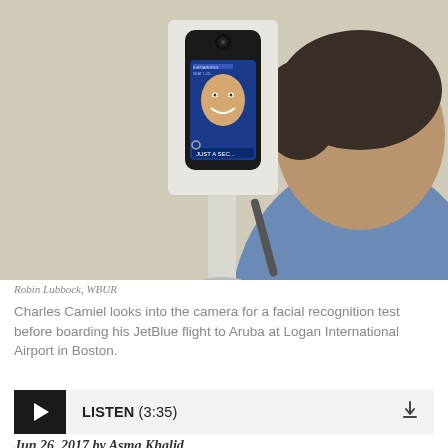[Figure (photo): A man faces a facial recognition kiosk device mounted on a pole. The kiosk has a screen showing a smiling woman's face and text reading 'JUST A SEC...' The device has a camera at the top. A man seen from behind wearing a blue shirt looks at it. Background is a cream/beige wall.]
Robin Lubbock, WBUR
Charles Camiel looks into the camera for a facial recognition test before boarding his JetBlue flight to Aruba at Logan International Airport in Boston.
[Figure (other): Audio player bar with play button, LISTEN (3:35) label and download icon]
Jun 26, 2017 by Asma Khalid